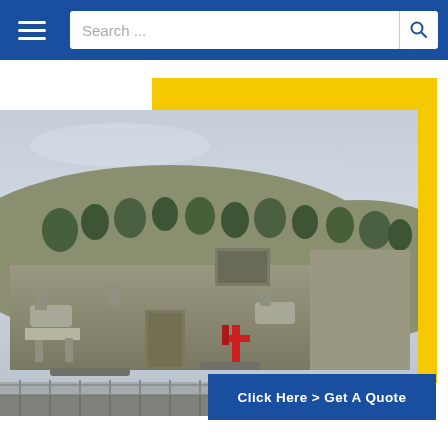Search ...
[Figure (photo): Exterior photograph of an industrial facility with tan/grey concrete block buildings, HVAC equipment, exhaust pipes, a red fire hydrant/pipe assembly, a chain-link fence in the foreground, scrub trees on a hillside in the background, and an overcast sky.]
Click Here > Get A Quote